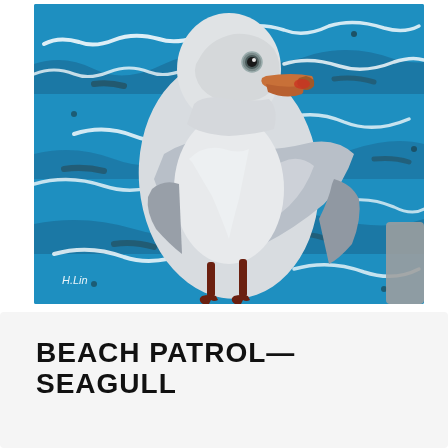[Figure (illustration): Painting of a seagull standing against a background of blue ocean waves with crashing white foam. The seagull is gray and white with a reddish beak and dark red legs. Artist signature 'H.Lin' visible in lower left corner. A gray scrollbar element is visible at the far right edge of the image.]
BEACH PATROL—SEAGULL